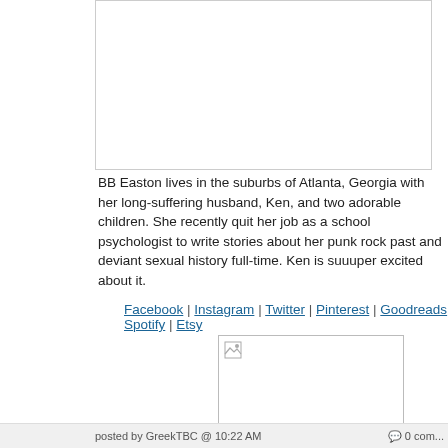[Figure (photo): Placeholder image box at top, white rectangle with border]
BB Easton lives in the suburbs of Atlanta, Georgia with her long-suffering husband, Ken, and two adorable children. She recently quit her job as a school psychologist to write stories about her punk rock past and deviant sexual history full-time. Ken is suuuper excited about it.
Facebook | Instagram | Twitter | Pinterest | Goodreads | Spotify | Etsy
[Figure (photo): Placeholder image box in lower center with broken image icon]
posted by GreekTBC @ 10:22 AM      0 com...